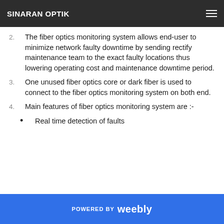SINARAN OPTIK
…ed fiber cuts or damage due to ongoing site construction.
2. The fiber optics monitoring system allows end-user to minimize network faulty downtime by sending rectify maintenance team to the exact faulty locations thus lowering operating cost and maintenance downtime period.
3. One unused fiber optics core or dark fiber is used to connect to the fiber optics monitoring system on both end.
4. Main features of fiber optics monitoring system are :-
• Real time detection of faults
POWERED BY weebly